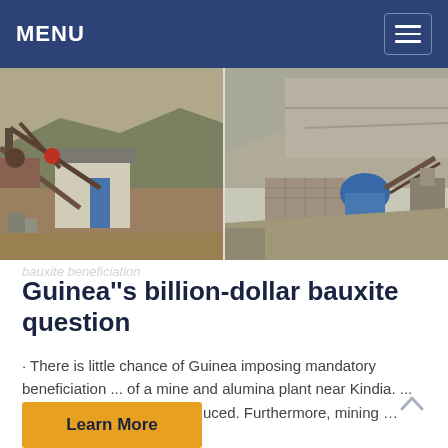MENU
[Figure (photo): Two side-by-side photos of open-pit mining or quarry sites with industrial equipment, conveyor belts, buildings, and rocky terrain.]
Guinea''s billion-dollar bauxite question
· There is little chance of Guinea imposing mandatory beneficiation ... of a mine and alumina plant near Kindia. ... the quantity of bauxite produced. Furthermore, mining ...